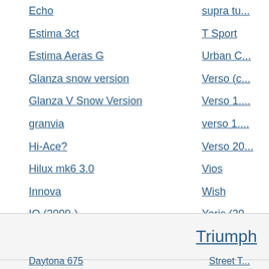Echo
supra tur...
Estima 3ct
T Sport
Estima Aeras G
Urban C...
Glanza snow version
Verso (c...
Glanza V Snow Version
Verso 1....
granvia
verso 1....
Hi-Ace?
Verso 20...
Hilux mk6 3.0
Vios
Innova
Wish
IQ (2009-)
Yaris (20...
Isis
Yaris / V...
Triumph